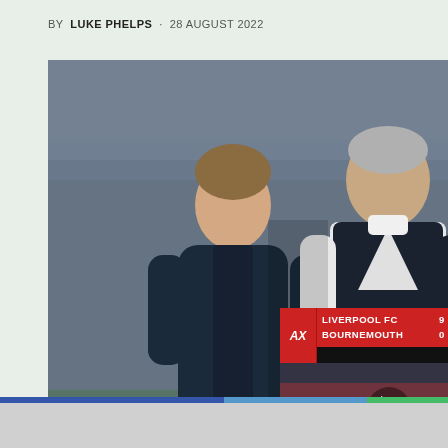BY LUKE PHELPS · 28 AUGUST 2022
[Figure (photo): Two men standing on a football pitch, one younger in a dark hoodie looking right, one older in a white shirt and dark vest looking concerned, stadium stands blurred in background]
[Figure (screenshot): Video overlay showing Liverpool FC 9 - Bournemouth 0 at 87:05, with play button and crowd in background]
CHAMPIONSHIP, LATEST NEWS, STOKE C...